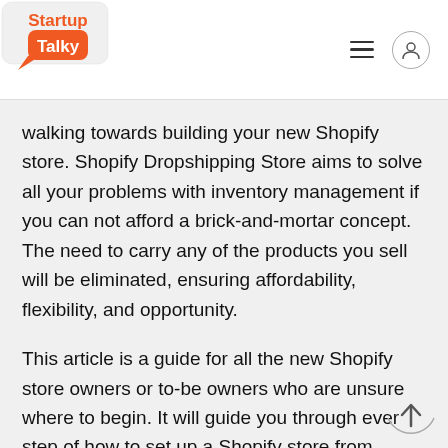StartupTalky
walking towards building your new Shopify store. Shopify Dropshipping Store aims to solve all your problems with inventory management if you can not afford a brick-and-mortar concept. The need to carry any of the products you sell will be eliminated, ensuring affordability, flexibility, and opportunity.
This article is a guide for all the new Shopify store owners or to-be owners who are unsure where to begin. It will guide you through every step of how to set up a Shopify store from